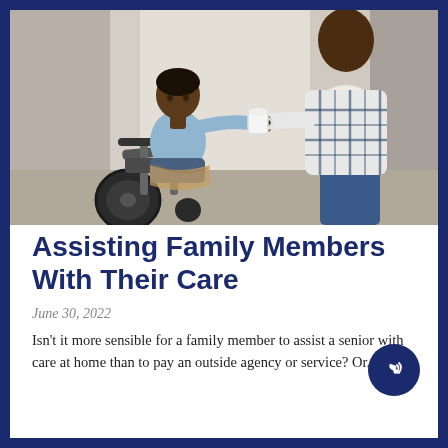[Figure (photo): A person in a wheelchair receiving a cup from a caregiver standing beside them, indoors near a window with curtains.]
Assisting Family Members With Their Care
June 30, 2022
Isn't it more sensible for a family member to assist a senior with care at home than to pay an outside agency or service? Or...